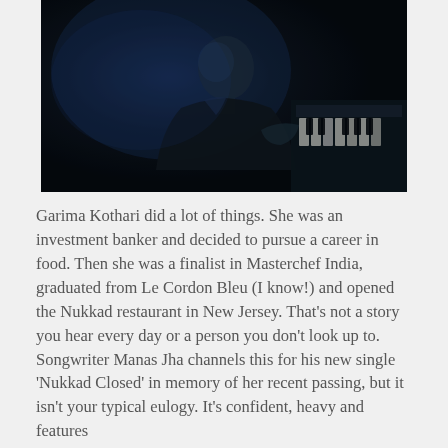[Figure (photo): A dark, atmospheric photo of a person (likely musician) seated at a piano, illuminated by a cool blue light against a very dark background. The subject is wearing a dark jacket and is seen in profile.]
Garima Kothari did a lot of things. She was an investment banker and decided to pursue a career in food. Then she was a finalist in Masterchef India, graduated from Le Cordon Bleu (I know!) and opened the Nukkad restaurant in New Jersey. That's not a story you hear every day or a person you don't look up to. Songwriter Manas Jha channels this for his new single 'Nukkad Closed' in memory of her recent passing, but it isn't your typical eulogy. It's confident, heavy and features